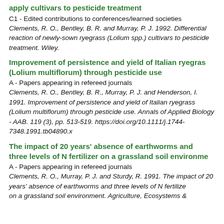apply cultivars to pesticide treatment
C1 - Edited contributions to conferences/learned societies
Clements, R. O., Bentley, B. R. and Murray, P. J. 1992. Differential reaction of newly-sown ryegrass (Lolium spp.) cultivars to pesticide treatment. Wiley.
Improvement of persistence and yield of Italian ryegrass (Lolium multiflorum) through pesticide use
A - Papers appearing in refereed journals
Clements, R. O., Bentley, B. R., Murray, P. J. and Henderson, I. 1991. Improvement of persistence and yield of Italian ryegrass (Lolium multiflorum) through pesticide use. Annals of Applied Biology - AAB. 119 (3), pp. 513-519. https://doi.org/10.1111/j.1744-7348.1991.tb04890.x
The impact of 20 years' absence of earthworms and three levels of N fertilizer on a grassland soil environment
A - Papers appearing in refereed journals
Clements, R. O., Murray, P. J. and Sturdy, R. 1991. The impact of 20 years' absence of earthworms and three levels of N fertilizer on a grassland soil environment. Agriculture, Ecosystems &